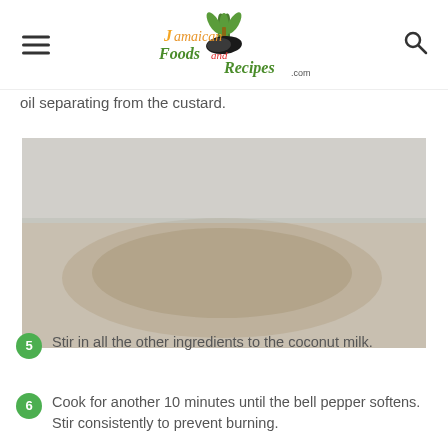Jamaican Foods and Recipes
oil separating from the custard.
[Figure (photo): Food photograph showing a Jamaican recipe dish]
5. Stir in all the other ingredients to the coconut milk.
6. Cook for another 10 minutes until the bell pepper softens. Stir consistently to prevent burning.